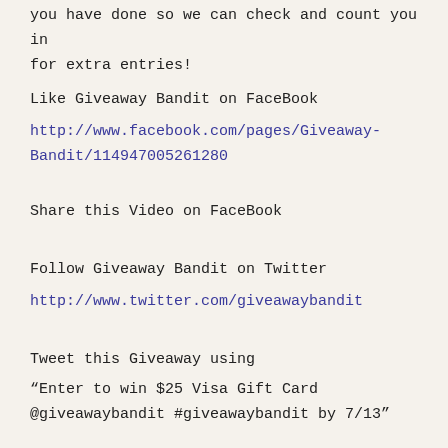you have done so we can check and count you in for extra entries!
Like Giveaway Bandit on FaceBook
http://www.facebook.com/pages/Giveaway-Bandit/114947005261280
Share this Video on FaceBook
Follow Giveaway Bandit on Twitter
http://www.twitter.com/giveawaybandit
Tweet this Giveaway using
“Enter to win $25 Visa Gift Card @giveawaybandit #giveawaybandit by 7/13”